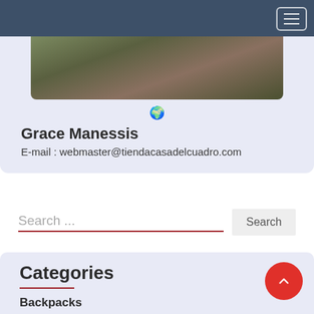Navigation bar with hamburger menu
[Figure (photo): Cropped photo showing a person in camouflage/military green clothing, partially visible at top of profile card]
Grace Manessis
E-mail : webmaster@tiendacasadelcuadro.com
Search ...
Categories
Backpacks
Business and Management